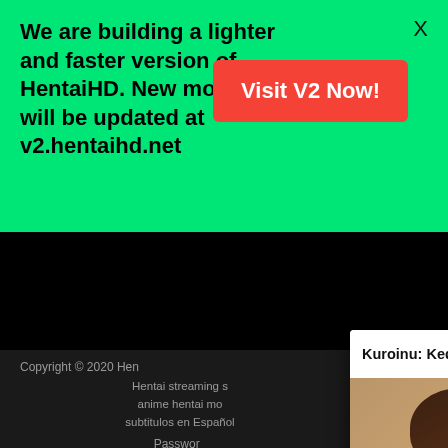We are building a lighter and faster version of HentaiHD. New movies will be updated at v2.hentaihd.net
Visit V2 Now!
X
[Figure (screenshot): Black video player area]
Copyright © 2020 HentaiHD
Hentai streaming s... anime hentai mov... subtitulos en Español...
Password...
[Figure (screenshot): Popup panel with title 'Kuroinu: Kedakaki Seijo wa ...' showing anime thumbnail with play button, up arrow and close X icons]